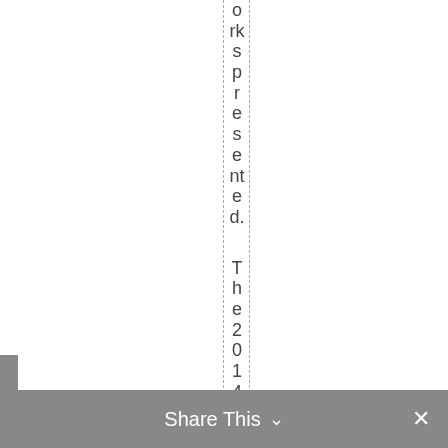orkspresented. The2014Pre
Share This ×